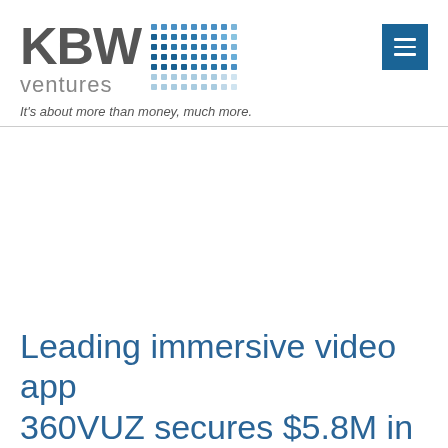[Figure (logo): KBW Ventures logo with large bold KBW text in grey, 'ventures' subtitle, and a grid of blue dots pattern to the right]
It's about more than money, much more.
Leading immersive video app 360VUZ secures $5.8M in